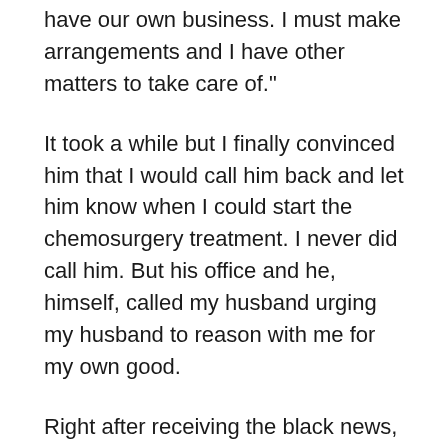have our own business. I must make arrangements and I have other matters to take care of."
It took a while but I finally convinced him that I would call him back and let him know when I could start the chemosurgery treatment. I never did call him. But his office and he, himself, called my husband urging my husband to reason with me for my own good.
Right after receiving the black news, I called my husband at work and told him I would not be home. I would not be at our place of business. He wouldn't see me until I found another way to combat cancer. I told my husband that I was going to a